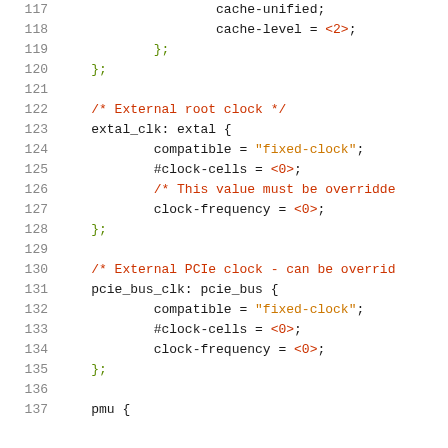Source code listing, lines 117-137, device tree configuration with cache, clock, and PMU node definitions